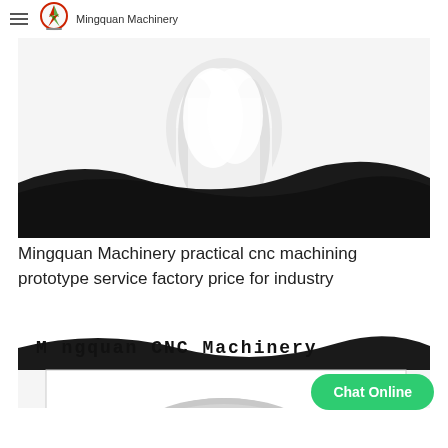Mingquan Machinery
[Figure (photo): Product photo showing a white CNC machined prototype part (appears to be a plastic fitting or connector) against a dark curved wave background]
Mingquan Machinery practical cnc machining prototype service factory price for industry
[Figure (photo): Product image with 'Mingquan CNC Machinery' text header, dark wave background at top and a gray circular metal part visible at the bottom]
Chat Online